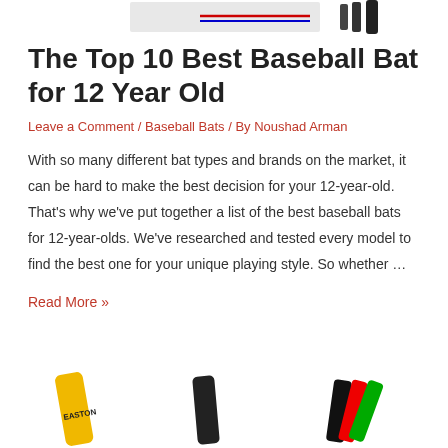[Figure (photo): Partial view of baseball bat product images at the top of the page, including a colored bat on the left and multiple bat silhouettes on the right]
The Top 10 Best Baseball Bat for 12 Year Old
Leave a Comment / Baseball Bats / By Noushad Arman
With so many different bat types and brands on the market, it can be hard to make the best decision for your 12-year-old. That's why we've put together a list of the best baseball bats for 12-year-olds. We've researched and tested every model to find the best one for your unique playing style. So whether …
Read More »
[Figure (photo): Bottom of page showing partial images of baseball bats: a yellow Easton bat on the left, a black bat in the middle, and multiple colored bats on the right]